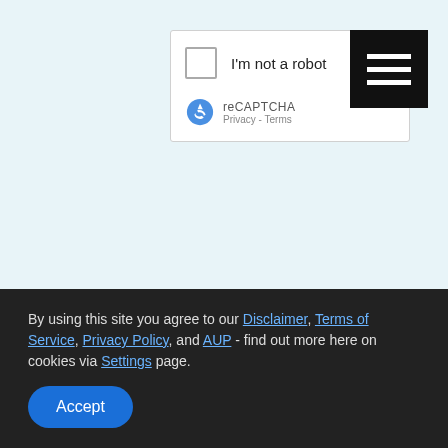[Figure (screenshot): reCAPTCHA widget with checkbox labelled I'm not a robot, and reCAPTCHA logo with Privacy and Terms links]
[Figure (other): Black hamburger menu button with three horizontal white lines]
Send Confidential Contact (*) - Required
Related Post
Improve Your Semen Quality with
By using this site you agree to our Disclaimer, Terms of Service, Privacy Policy, and AUP - find out more here on cookies via Settings page.
Accept